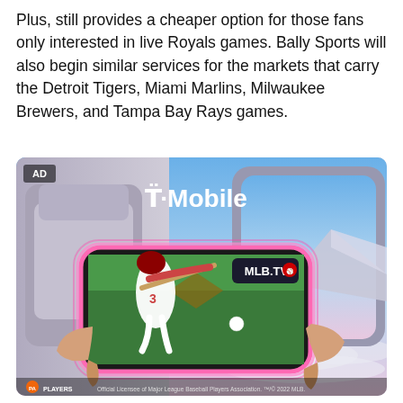Plus, still provides a cheaper option for those fans only interested in live Royals games. Bally Sports will also begin similar services for the markets that carry the Detroit Tigers, Miami Marlins, Milwaukee Brewers, and Tampa Bay Rays games.
[Figure (photo): T-Mobile advertisement showing a person on an airplane holding a phone displaying MLB.TV with a baseball player batting. Background shows airplane window with blue sky and clouds. AD label in top left corner. MLBPA Players logo and licensee text at bottom.]